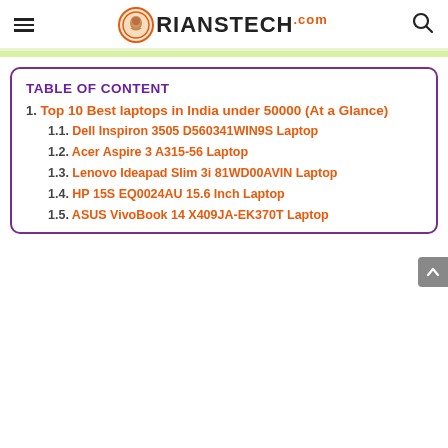RIANSTECH.com
TABLE OF CONTENT
1. Top 10 Best laptops in India under 50000 (At a Glance)
1.1. Dell Inspiron 3505 D560341WIN9S Laptop
1.2. Acer Aspire 3 A315-56 Laptop
1.3. Lenovo Ideapad Slim 3i 81WD00AVIN Laptop
1.4. HP 15S EQ0024AU 15.6 Inch Laptop
1.5. ASUS VivoBook 14 X409JA-EK370T Laptop